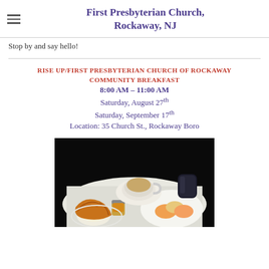First Presbyterian Church, Rockaway, NJ
Stop by and say hello!
RISE UP/FIRST PRESBYTERIAN CHURCH OF ROCKAWAY COMMUNITY BREAKFAST
8:00 AM – 11:00 AM
Saturday, August 27th
Saturday, September 17th
Location: 35 Church St., Rockaway Boro
[Figure (photo): Photo of a breakfast spread on a white tray including a croissant, cup of coffee/tea, small jar of jam, butter dish, a glass of dark beverage, and a plate with sliced fruit/cheese, all on a dark background.]